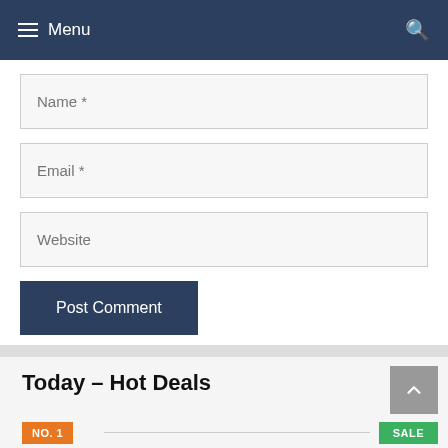≡ Menu
[Figure (screenshot): Web form with Name, Email, Website input fields and a Post Comment button]
Today – Hot Deals